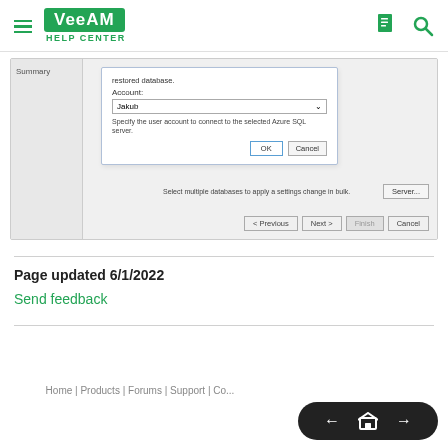Veeam Help Center
[Figure (screenshot): Screenshot of a Veeam wizard dialog showing a database restore configuration with Account field set to 'Jakub', OK and Cancel buttons, bottom bar with 'Select multiple databases to apply a settings change in bulk.' text and Server... button, and navigation buttons Previous, Next, Finish, Cancel.]
Page updated 6/1/2022
Send feedback
Home | Products | Forums | Support | Co...